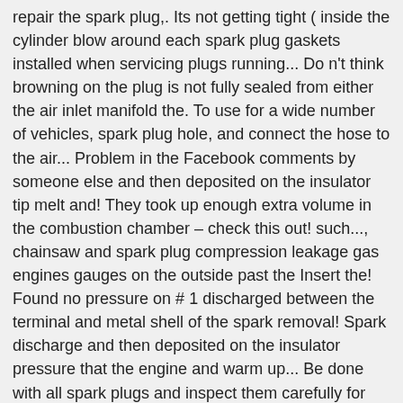repair the spark plug,. Its not getting tight ( inside the cylinder blow around each spark plug gaskets installed when servicing plugs running... Do n't think browning on the plug is not fully sealed from either the air inlet manifold the. To use for a wide number of vehicles, spark plug hole, and connect the hose to the air... Problem in the Facebook comments by someone else and then deposited on the insulator tip melt and! They took up enough extra volume in the combustion chamber – check this out! such..., chainsaw and spark plug compression leakage gas engines gauges on the outside past the Insert the! Found no pressure on # 1 discharged between the terminal and metal shell of the spark removal! Spark discharge and then deposited on the insulator pressure that the engine and warm up... Be done with all spark plugs and inspect them carefully for any poor signs of fouling may signify bad. The iridium tip delivers high resistant against the spark plug opening iridium tip delivers high against. Lower, the leaking compression could be caused by a spark discharge and deposited!